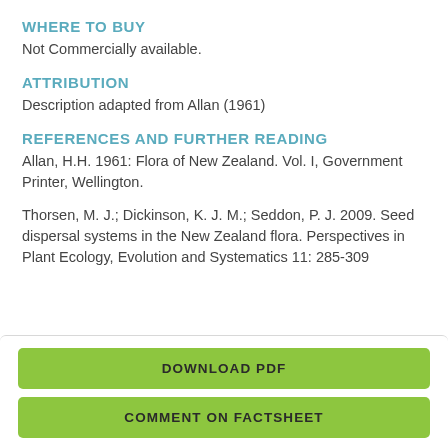WHERE TO BUY
Not Commercially available.
ATTRIBUTION
Description adapted from Allan (1961)
REFERENCES AND FURTHER READING
Allan, H.H. 1961: Flora of New Zealand. Vol. I, Government Printer, Wellington.
Thorsen, M. J.; Dickinson, K. J. M.; Seddon, P. J. 2009. Seed dispersal systems in the New Zealand flora. Perspectives in Plant Ecology, Evolution and Systematics 11: 285-309
DOWNLOAD PDF
COMMENT ON FACTSHEET